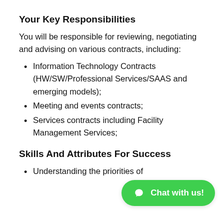Your Key Responsibilities
You will be responsible for reviewing, negotiating and advising on various contracts, including:
Information Technology Contracts (HW/SW/Professional Services/SAAS and emerging models);
Meeting and events contracts;
Services contracts including Facility Management Services;
Skills And Attributes For Success
Understanding the priorities of